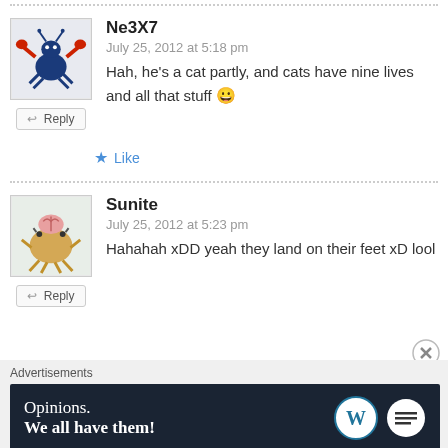Ne3X7
July 25, 2012 at 5:18 pm
Hah, he's a cat partly, and cats have nine lives and all that stuff 😀
Like
Sunite
July 25, 2012 at 5:23 pm
Hahahah xDD yeah they land on their feet xD lool
Advertisements
[Figure (screenshot): WordPress advertisement banner: 'Opinions. We all have them!' with WordPress and Daily Post logos on dark navy background]